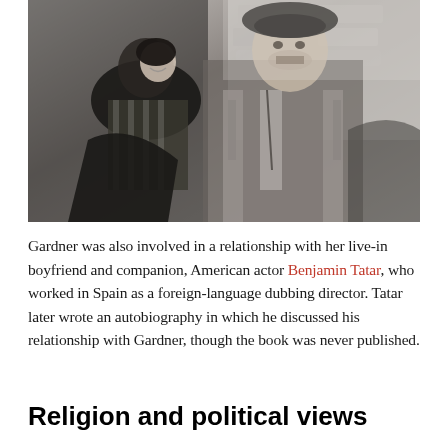[Figure (photo): Black and white photograph of two people outdoors. A woman on the left is smiling and looking at a man on the right who is wearing a beret and vest, standing in front of a stone wall.]
Gardner was also involved in a relationship with her live-in boyfriend and companion, American actor Benjamin Tatar, who worked in Spain as a foreign-language dubbing director. Tatar later wrote an autobiography in which he discussed his relationship with Gardner, though the book was never published.
Religion and political views